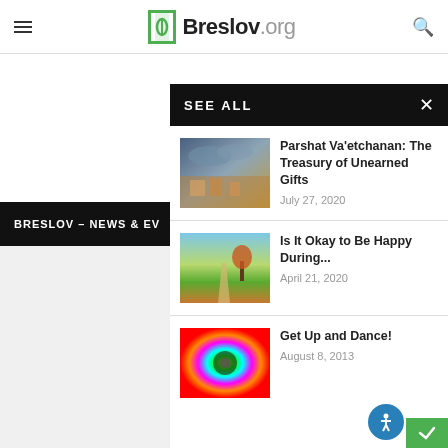Breslov.org
SEE ALL
BRESLOV – NEWS & EV
Parshat Va'etchanan: The Treasury of Unearned Gifts
July 27, 2020
Is It Okay to Be Happy During...
April 21, 2020
Get Up and Dance!
August 8, 2013